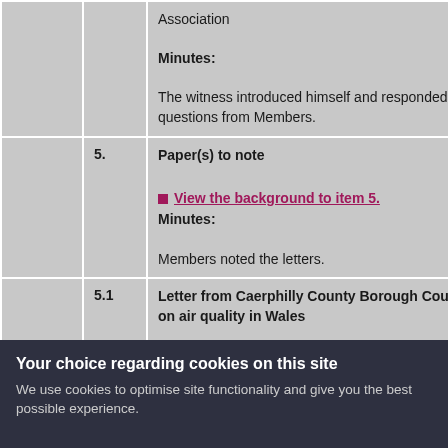|  | No. | Content |
| --- | --- | --- |
|  |  | Association
Minutes:
The witness introduced himself and responded to questions from Members. |
|  | 5. | Paper(s) to note
[View the background to item 5.]
Minutes:
Members noted the letters. |
|  | 5.1 | Letter from Caerphilly County Borough Council on air quality in Wales
[View the background to item 5.1]
Supporting documents: |
Your choice regarding cookies on this site
We use cookies to optimise site functionality and give you the best possible experience.